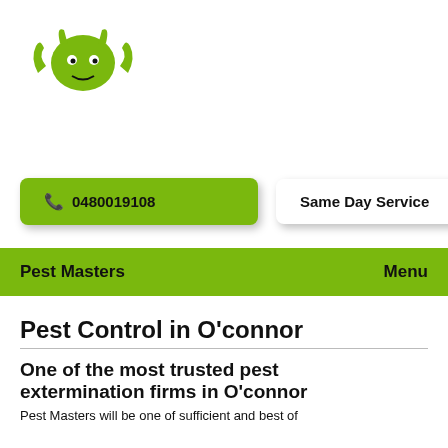[Figure (logo): Green pest/bug mascot logo icon with horns and claws]
📞 0480019108
Same Day Service
Pest Masters   Menu
Pest Control in O'connor
One of the most trusted pest extermination firms in O'connor
Pest Masters will be one of sufficient and best of